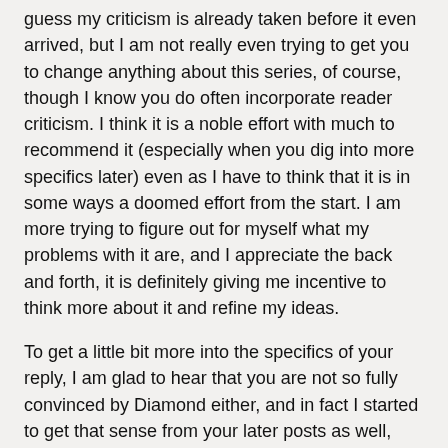guess my criticism is already taken before it even arrived, but I am not really even trying to get you to change anything about this series, of course, though I know you do often incorporate reader criticism. I think it is a noble effort with much to recommend it (especially when you dig into more specifics later) even as I have to think that it is in some ways a doomed effort from the start. I am more trying to figure out for myself what my problems with it are, and I appreciate the back and forth, it is definitely giving me incentive to think more about it and refine my ideas.
To get a little bit more into the specifics of your reply, I am glad to hear that you are not so fully convinced by Diamond either, and in fact I started to get that sense from your later posts as well, though this post still seems particularly enthusiastic about his view as the true one. I've already covered why I don't believe a true view can exist, but I am certainly willing to go as far as to say that the things Diamond mentions as the main motivating factors may be important contributing factors in some, but not all, cases. I would not go any further than that, but this post appears to hold that it applies more